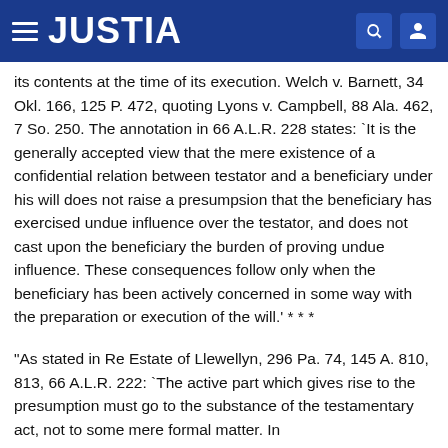JUSTIA
its contents at the time of its execution. Welch v. Barnett, 34 Okl. 166, 125 P. 472, quoting Lyons v. Campbell, 88 Ala. 462, 7 So. 250. The annotation in 66 A.L.R. 228 states: `It is the generally accepted view that the mere existence of a confidential relation between testator and a beneficiary under his will does not raise a presumpsion that the beneficiary has exercised undue influence over the testator, and does not cast upon the beneficiary the burden of proving undue influence. These consequences follow only when the beneficiary has been actively concerned in some way with the preparation or execution of the will.' * * *
"As stated in Re Estate of Llewellyn, 296 Pa. 74, 145 A. 810, 813, 66 A.L.R. 222: `The active part which gives rise to the presumption must go to the substance of the testamentary act, not to some mere formal matter. In